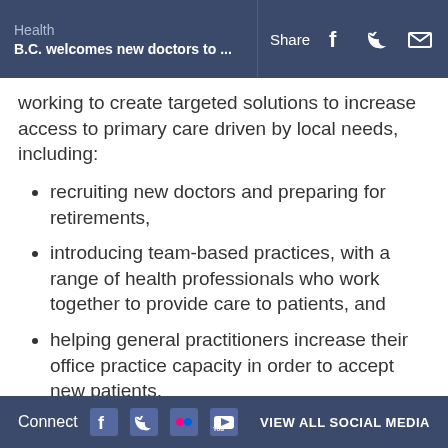Health | B.C. welcomes new doctors to ... | Share
working to create targeted solutions to increase access to primary care driven by local needs, including:
recruiting new doctors and preparing for retirements,
introducing team-based practices, with a range of health professionals who work together to provide care to patients, and
helping general practitioners increase their office practice capacity in order to accept new patients.
The Rural and Remote Division of Family Practice specifically focuses on supporting...
Connect | VIEW ALL SOCIAL MEDIA